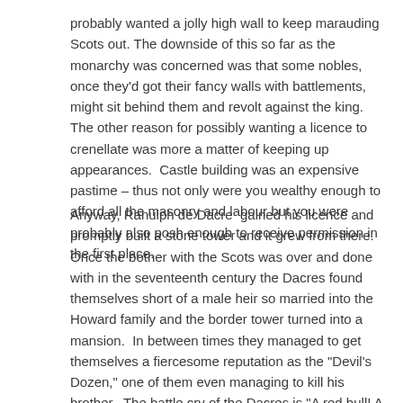probably wanted a jolly high wall to keep marauding Scots out. The downside of this so far as the monarchy was concerned was that some nobles, once they'd got their fancy walls with battlements, might sit behind them and revolt against the king. The other reason for possibly wanting a licence to crenellate was more a matter of keeping up appearances. Castle building was an expensive pastime – thus not only were you wealthy enough to afford all the masonry and labour but you were probably also posh enough to receive permission in the first place.
Anyway, Ranulph de Dacre gained his licence and promptly built a stone tower and it grew from there. Once the bother with the Scots was over and done with in the seventeenth century the Dacres found themselves short of a male heir so married into the Howard family and the border tower turned into a mansion. In between times they managed to get themselves a fiercesome reputation as the "Devil's Dozen," one of them even managing to kill his brother. The battle cry of the Dacres is "A red bull! A red bull!" Apparently the cry filled the Scots at the Battle of Flodden in 1513 with dread. Thomas, Lord Dacre was in command of the reserves.